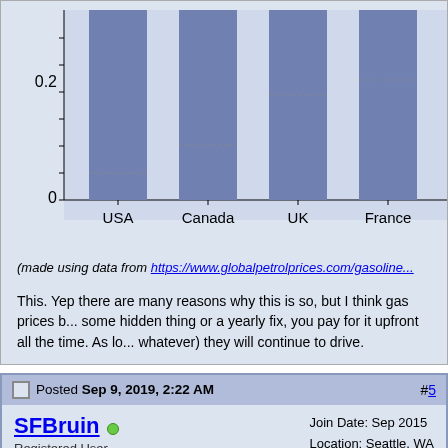[Figure (bar-chart): Gas prices comparison]
(made using data from https://www.globalpetrolprices.com/gasoline...
This. Yep there are many reasons why this is so, but I think gas prices b... some hidden thing or a yearly fix, you pay for it upfront all the time. As lo... whatever) they will continue to drive.
Posted Sep 9, 2019, 2:22 AM  #5
SFBruin  Registered User   Join Date: Sep 2015  Location: Seattle, WA  Posts: 1,014
There is little to no market pressure to have good transit in the United States.

Even in New York City, which has, by far, the most extensive mass transit system of any metropolitan area in the United States, most of the lines and stations were built a long time ago. To me, this is a...